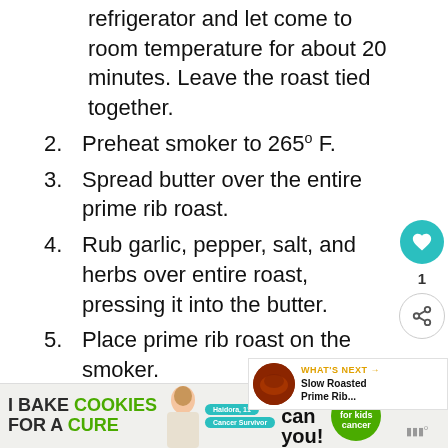refrigerator and let come to room temperature for about 20 minutes. Leave the roast tied together.
2. Preheat smoker to 265° F.
3. Spread butter over the entire prime rib roast.
4. Rub garlic, pepper, salt, and herbs over entire roast, pressing it into the butter.
5. Place prime rib roast on the smoker.
6. Roast for about 30 minutes per pound until the internal temperature reaches about 135°F.
7. Remove the prime rib roast from the smoker and let it rest for 15-20 minutes
[Figure (infographic): Ad banner: I Bake COOKIES For A CURE - So can you! with person photo and green badge]
[Figure (infographic): What's Next panel showing Slow Roasted Prime Rib... with circular food image]